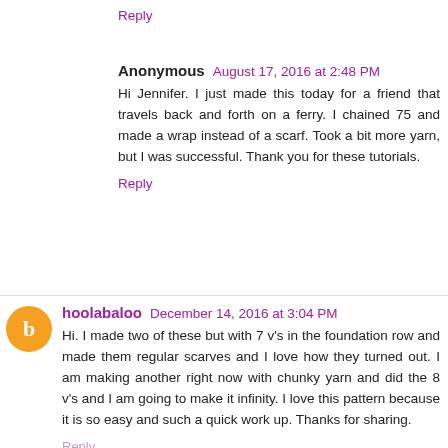Reply
Anonymous  August 17, 2016 at 2:48 PM
Hi Jennifer. I just made this today for a friend that travels back and forth on a ferry. I chained 75 and made a wrap instead of a scarf. Took a bit more yarn, but I was successful. Thank you for these tutorials.
Reply
hoolabaloo  December 14, 2016 at 3:04 PM
Hi. I made two of these but with 7 v's in the foundation row and made them regular scarves and I love how they turned out. I am making another right now with chunky yarn and did the 8 v's and I am going to make it infinity. I love this pattern because it is so easy and such a quick work up. Thanks for sharing.
Reply